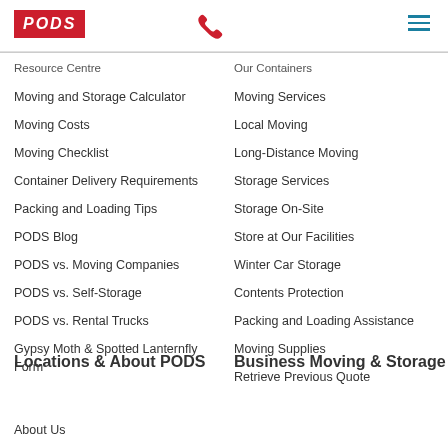PODS logo, phone icon, hamburger menu
Resource Centre
Our Containers
Moving and Storage Calculator
Moving Services
Moving Costs
Local Moving
Moving Checklist
Long-Distance Moving
Container Delivery Requirements
Storage Services
Packing and Loading Tips
Storage On-Site
PODS Blog
Store at Our Facilities
PODS vs. Moving Companies
Winter Car Storage
PODS vs. Self-Storage
Contents Protection
PODS vs. Rental Trucks
Packing and Loading Assistance
Gypsy Moth & Spotted Lanternfly Form
Moving Supplies
Retrieve Previous Quote
Locations & About PODS
Business Moving & Storage
About Us